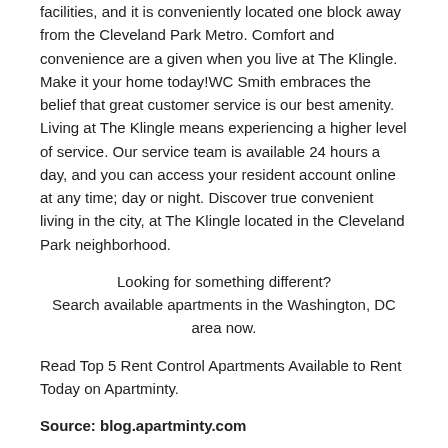facilities, and it is conveniently located one block away from the Cleveland Park Metro. Comfort and convenience are a given when you live at The Klingle. Make it your home today!WC Smith embraces the belief that great customer service is our best amenity. Living at The Klingle means experiencing a higher level of service. Our service team is available 24 hours a day, and you can access your resident account online at any time; day or night. Discover true convenient living in the city, at The Klingle located in the Cleveland Park neighborhood.
Looking for something different? Search available apartments in the Washington, DC area now.
Read Top 5 Rent Control Apartments Available to Rent Today on Apartminty.
Source: blog.apartminty.com